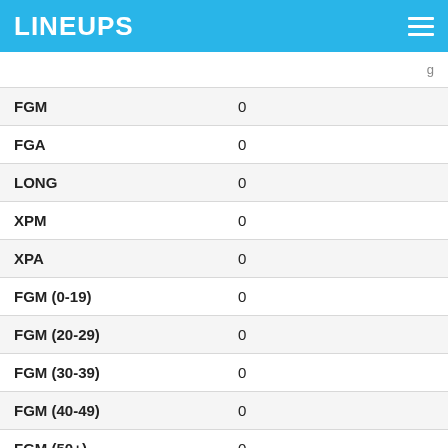LINEUPS
| Stat | Value |
| --- | --- |
| FGM | 0 |
| FGA | 0 |
| LONG | 0 |
| XPM | 0 |
| XPA | 0 |
| FGM (0-19) | 0 |
| FGM (20-29) | 0 |
| FGM (30-39) | 0 |
| FGM (40-49) | 0 |
| FGM (50+) | 0 |
| PTS | 0 |
Player